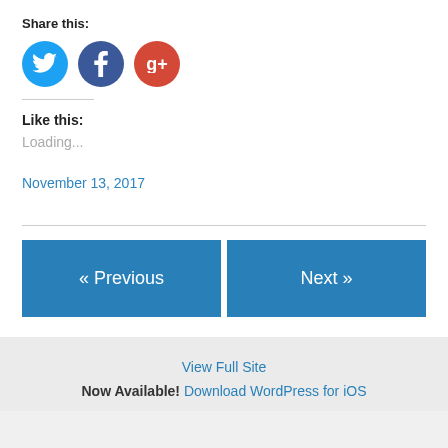Share this:
[Figure (illustration): Three social media icon circles: Twitter (blue), Facebook (dark blue), Google+ (red)]
Like this:
Loading...
November 13, 2017
« Previous
Next »
View Full Site
Now Available! Download WordPress for iOS